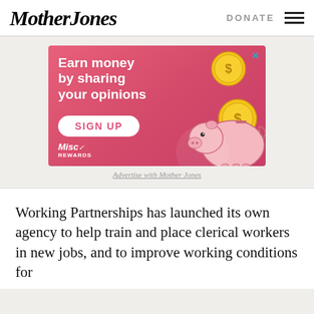Mother Jones | DONATE
[Figure (illustration): Advertisement banner: pink/red gradient background with text 'Earn money by sharing your opinions', a SIGN UP button, Misc Rewards logo, illustrated piggy bank, and two gold dollar coins. Close button X in top right corner.]
Advertise with Mother Jones
Working Partnerships has launched its own agency to help train and place clerical workers in new jobs, and to improve working conditions for